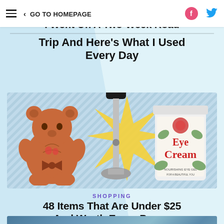≡  < GO TO HOMEPAGE
I Went On A Two-Week Road Trip And Here's What I Used Every Day
[Figure (photo): Product collage showing a terracotta/rust-colored bear-shaped cookie cutter/mold, a stainless steel wine opener/corkscrew tool against a yellow starburst background, and a small white jar of Eye Cream with floral label, all on a blue diagonal stripe background.]
SHOPPING
48 Items That Are Under $25 And Worth Every Penny
[Figure (photo): Partial view of people/women against a sparkly background, cropped at bottom of page.]